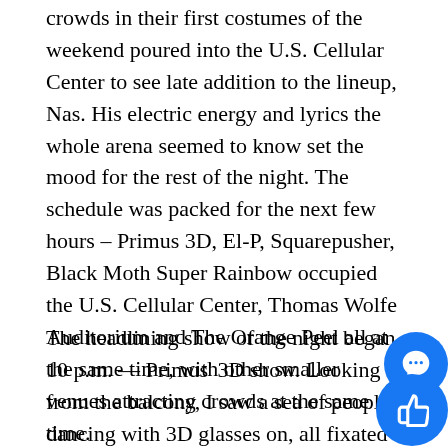crowds in their first costumes of the weekend poured into the U.S. Cellular Center to see late addition to the lineup, Nas. His electric energy and lyrics the whole arena seemed to know set the mood for the rest of the night. The schedule was packed for the next few hours – Primus 3D, El-P, Squarepusher, Black Moth Super Rainbow occupied the U.S. Cellular Center, Thomas Wolfe Auditorium and The Orange Peel all at the same time, with other smaller venues attracting crowds at the same time.
The headlining show of the night began at 10 p.m. — Primus' 3D show. Looking down from the balcony, I saw a sea of people dancing with 3D glasses on, all fixated on the giant inflatable astronauts with fac projected on their helmets, both moving with the funky beats and outlandish lyrics from frontman Claypool. Primus kept the crowd rapt with cartoo